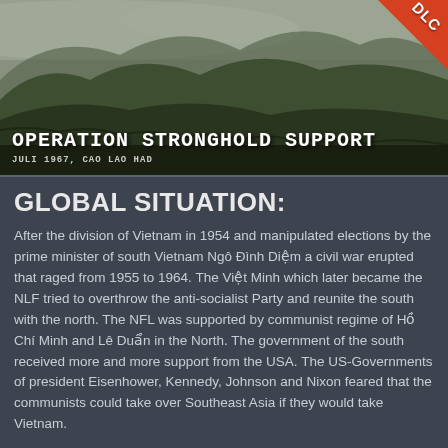[Figure (photo): Aerial or ground-level view of forested green hills/mountains in Vietnam, misty/overcast sky. Contains overlay text: 'OPERATION STRONGHOLD SUPPORT / JULI 1967, CAO LAO HAD'. DLC badge in upper right corner.]
GLOBAL SITUATION:
After the division of Vietnam in 1954 and manipulated elections by the prime minister of south Vietnam Ngô Đình Diệm a civil war erupted that raged from 1955 to 1964. The Việt Minh which later became the NLF tried to overthrow the anti-socialist Party and reunite the south with the north. The NFL was supported by communist regime of Hồ Chí Minh and Lê Duẩn in the North. The government of the south received more and more support from the USA. The US-Governments of president Eisenhower, Kennedy, Johnson and Nixon feared that the communists could take over Southeast Asia if they would take Vietnam.
President Lyndon B. Johnson started bombing north Vietnam in 1965 after the Gulf of Tonkin incident. In the following months of